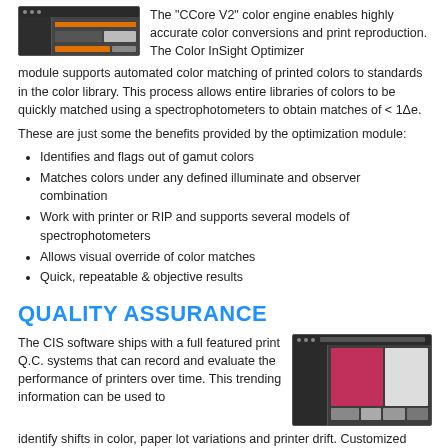[Figure (screenshot): Color InSight Optimizer software screenshot showing dark UI with color preview panels]
The "CCore V2" color engine enables highly accurate color conversions and print reproduction. The Color InSight Optimizer module supports automated color matching of printed colors to standards in the color library. This process allows entire libraries of colors to be quickly matched using a spectrophotometers to obtain matches of < 1Δe.
These are just some the benefits provided by the optimization module:
Identifies and flags out of gamut colors
Matches colors under any defined illuminate and observer combination
Work with printer or RIP and supports several models of spectrophotometers
Allows visual override of color matches
Quick, repeatable & objective results
QUALITY ASSURANCE
The CIS software ships with a full featured print Q.C. systems that can record and evaluate the performance of printers over time. This trending information can be used to identify shifts in color, paper lot variations and printer drift. Customized tolerance conditions can also be attached to a given workflow to provide quick pass/ fail evaluations of a print or proof. Color InSight also provides tools for evaluation the match between Color Standards and Samples. !
[Figure (screenshot): Quality Assurance software screenshot showing dark UI with pink/magenta color swatch and comparison panels]